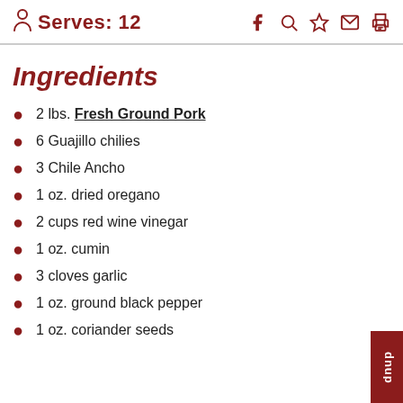Serves: 12
Ingredients
2 lbs. Fresh Ground Pork
6 Guajillo chilies
3 Chile Ancho
1 oz. dried oregano
2 cups red wine vinegar
1 oz. cumin
3 cloves garlic
1 oz. ground black pepper
1 oz. coriander seeds